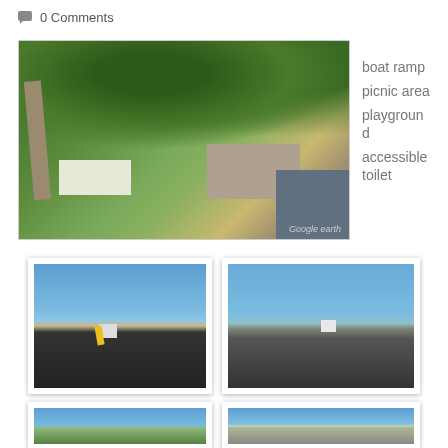0 Comments
[Figure (photo): Aerial Google Earth view of a boat ramp facility showing parking area, green trees, buildings, and water access]
boat ramp
picnic area
playground
accessible toilet
[Figure (photo): Photo of a boat ramp with yellow safety rails leading into blue water, dark asphalt surface]
[Figure (photo): Photo of two people standing on a boat ramp beside rock wall, blue water in background]
[Figure (photo): Partial photo showing boat ramp area with trees and water]
[Figure (photo): Partial photo showing boat ramp area with water and ramp surface]